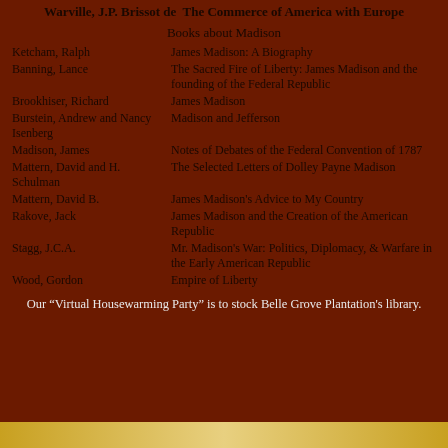Warville, J.P. Brissot de  The Commerce of America with Europe
Books about Madison
Ketcham, Ralph — James Madison: A Biography
Banning, Lance — The Sacred Fire of Liberty: James Madison and the founding of the Federal Republic
Brookhiser, Richard — James Madison
Burstein, Andrew and Nancy Isenberg — Madison and Jefferson
Madison, James — Notes of Debates of the Federal Convention of 1787
Mattern, David and H. Schulman — The Selected Letters of Dolley Payne Madison
Mattern, David B. — James Madison's Advice to My Country
Rakove, Jack — James Madison and the Creation of the American Republic
Stagg, J.C.A. — Mr. Madison's War: Politics, Diplomacy, & Warfare in the Early American Republic
Wood, Gordon — Empire of Liberty
Our “Virtual Housewarming Party” is to stock Belle Grove Plantation's library.